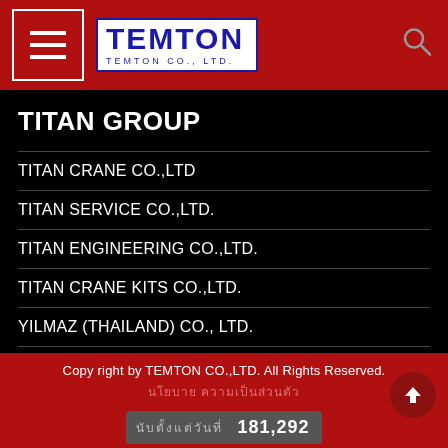[Figure (logo): TEMTON CO.,LTD. logo with hamburger menu icon on red header bar]
TITAN GROUP
TITAN CRANE CO.,LTD
TITAN SERVICE CO.,LTD.
TITAN ENGINEERING CO.,LTD.
TITAN CRANE KITS CO.,LTD.
YILMAZ (THAILAND) CO., LTD.
Copy right by TEMTON CO.,LTD. All Rights Reserved.
181,292
Powered by MakeWebEasy.com